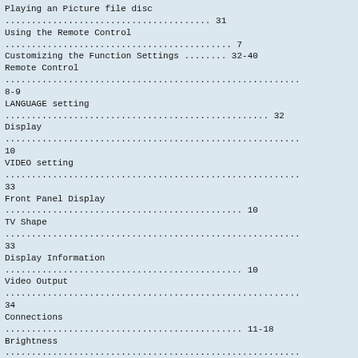Playing an Picture file disc ................................. 31
Using the Remote Control ..................................... 7
Customizing the Function Settings ........ 32-40
Remote Control .................................................. 8-9
LANGUAGE setting ............................................... 32
Display .......................................................... 10
VIDEO setting .................................................... 33
Front Panel Display .............................................. 10
TV Shape ......................................................... 33
Display Information .............................................. 10
Video Output ..................................................... 34
Connections .............................................. 11-18
Brightness ....................................................... 34
Connecting your TV .............................................. 11